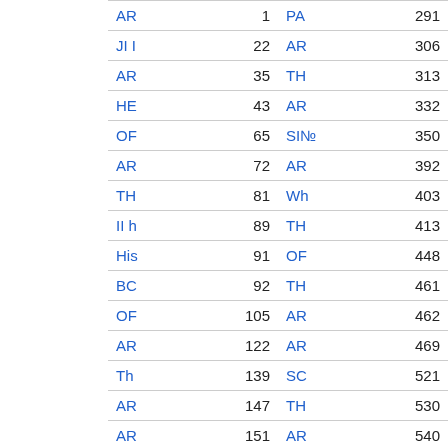| Label | Num | Label | Num |
| --- | --- | --- | --- |
| AR | 1 | PA | 291 |
| JI I | 22 | AR | 306 |
| AR | 35 | TH | 313 |
| HE | 43 | AR | 332 |
| OF | 65 | SI№ | 350 |
| AR | 72 | AR | 392 |
| TH | 81 | Wh | 403 |
| II h | 89 | TH | 413 |
| His | 91 | OF | 448 |
| BC | 92 | TH | 461 |
| OF | 105 | AR | 462 |
| AR | 122 | AR | 469 |
| Th | 139 | SC | 521 |
| AR | 147 | TH | 530 |
| AR | 151 | AR | 540 |
| IT | 163 | AR | 543 |
| AR | 172 | AR | 554 |
| AR | 181 | AR | 565 |